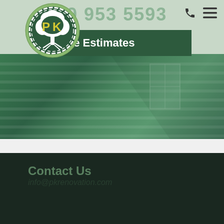[Figure (logo): PK Renovation circular logo with tree design, white tree on dark green circle, yellow letters P and K]
Free Estimates
[Figure (photo): Green-tinted hero image of a house with vinyl siding, overlaid with dark green color wash]
Contact Us
info@pkrenovation.com
469-953-5593
2101 Parker Rd, Suite C, Wylie, TX 75098